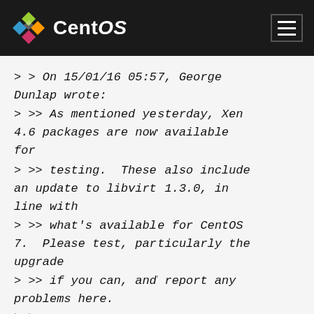CentOS
> > On 15/01/16 05:57, George Dunlap wrote:
> >> As mentioned yesterday, Xen 4.6 packages are now available for
> >> testing.  These also include an update to libvirt 1.3.0, in line with
> >> what's available for CentOS 7.  Please test, particularly the upgrade
> >> if you can, and report any problems here.
> >